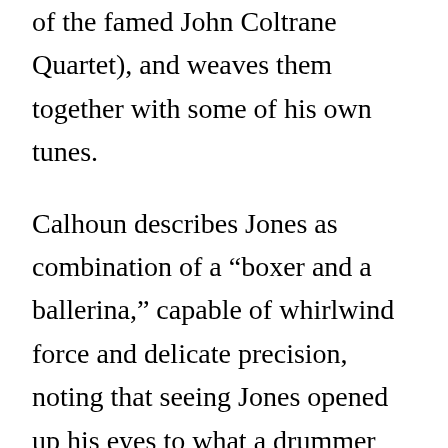of the famed John Coltrane Quartet), and weaves them together with some of his own tunes.

Calhoun describes Jones as combination of a “boxer and a ballerina,” capable of whirlwind force and delicate precision, noting that seeing Jones opened up his eyes to what a drummer could be. Calhoun will perform songs from